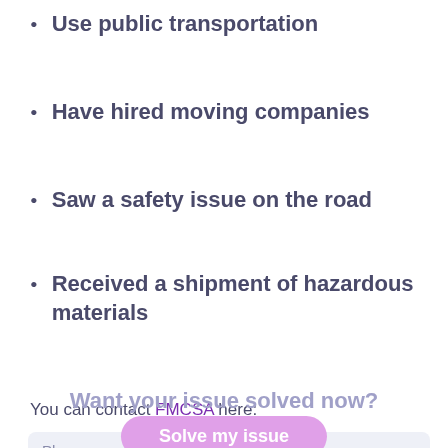Use public transportation
Have hired moving companies
Saw a safety issue on the road
Received a shipment of hazardous materials
You can contact FMCSA here:
|  |  |
| --- | --- |
| Phone Number | 1-800-877-8339 |
| Mailing Address | Federal Motor Carrier Safety Administration |